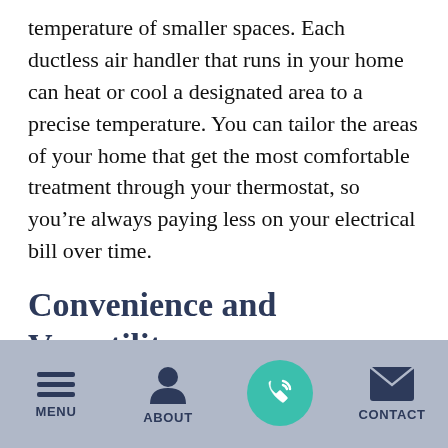temperature of smaller spaces. Each ductless air handler that runs in your home can heat or cool a designated area to a precise temperature. You can tailor the areas of your home that get the most comfortable treatment through your thermostat, so you're always paying less on your electrical bill over time.
Convenience and Versatility
What happens when one of your ductless mini-split air handlers breaks down? While it's still a problem that needs to be fixed, the good news is that the other air handlers in your home will
MENU  ABOUT  [CALL]  CONTACT